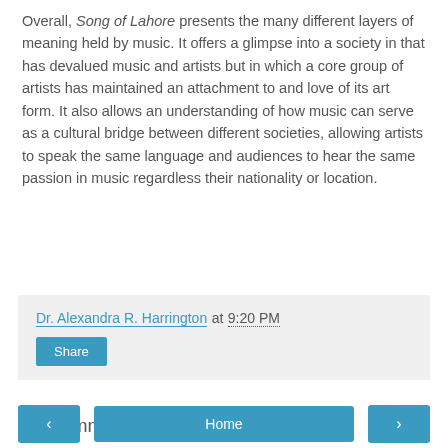Overall, Song of Lahore presents the many different layers of meaning held by music. It offers a glimpse into a society in that has devalued music and artists but in which a core group of artists has maintained an attachment to and love of its art form. It also allows an understanding of how music can serve as a cultural bridge between different societies, allowing artists to speak the same language and audiences to hear the same passion in music regardless their nationality or location.
Dr. Alexandra R. Harrington at 9:20 PM
Share
No comments:
Post a Comment
< Home >